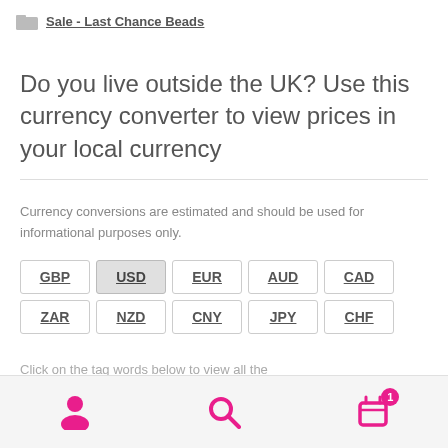Sale - Last Chance Beads
Do you live outside the UK? Use this currency converter to view prices in your local currency
Currency conversions are estimated and should be used for informational purposes only.
GBP USD EUR AUD CAD ZAR NZD CNY JPY CHF
Click on the tag words below to view all the
navigation icons: user, search, cart (1)